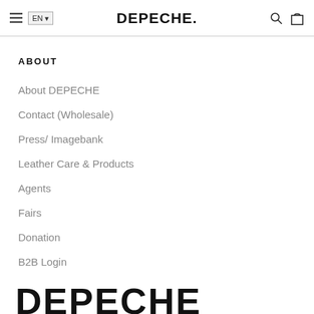DEPECHE.
ABOUT
About DEPECHE
Contact (Wholesale)
Press/ Imagebank
Leather Care & Products
Agents
Fairs
Donation
B2B Login
DEPECHE.